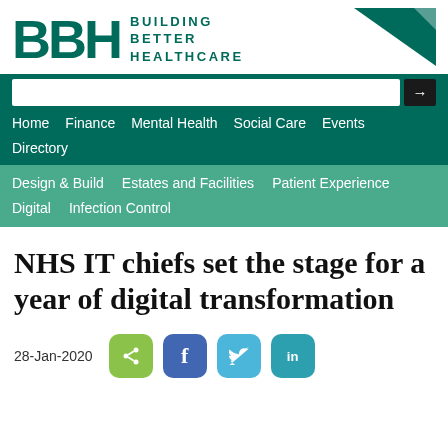[Figure (logo): BBH Building Better Healthcare logo with teal letters and triangle graphic]
Home  Finance  Mental Health  Social Care  Events  Directory
Design & Build  Estates and Facilities  Patient Experience  Digital  Infection Control
NHS IT chiefs set the stage for a year of digital transformation
28-Jan-2020